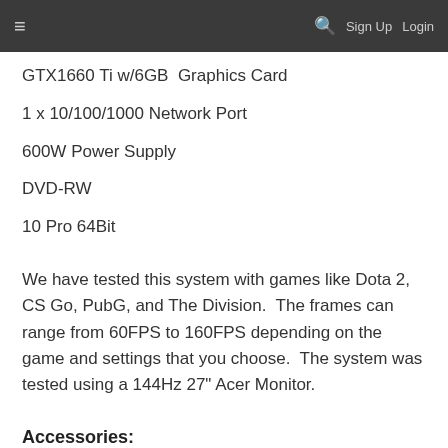≡  🔍  Sign Up  Login
GTX1660 Ti w/6GB  Graphics Card
1 x 10/100/1000 Network Port
600W Power Supply
DVD-RW
10 Pro 64Bit
We have tested this system with games like Dota 2, CS Go, PubG, and The Division.  The frames can range from 60FPS to 160FPS depending on the game and settings that you choose.  The system was tested using a 144Hz 27" Acer Monitor.
Accessories: